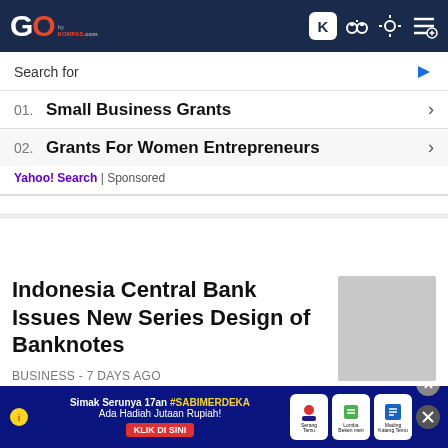GO by KOMPAS.com
[Figure (screenshot): Advertisement overlay with Yahoo Search sponsored links: 01. Small Business Grants, 02. Grants For Women Entrepreneurs]
Wife of Suspec...
TRAVEL &
NEWS - 6 days ago
Indonesia Central Bank Issues New Series Design of Banknotes
BUSINESS - 7 days ago
Malaysia's Najib Starts Final Bid to Overturn 1MDB Jail Sentence
NEWS - 7 days ago
[Figure (infographic): Bottom banner advertisement in Indonesian: Simak Serunya 17an #SABIMERDEKA Ada Hadiah Jutaan Rupiah! KLIK DI SINI with icons for Serung Temu, Lomba Beken meri, and Mading Kateng Temu]